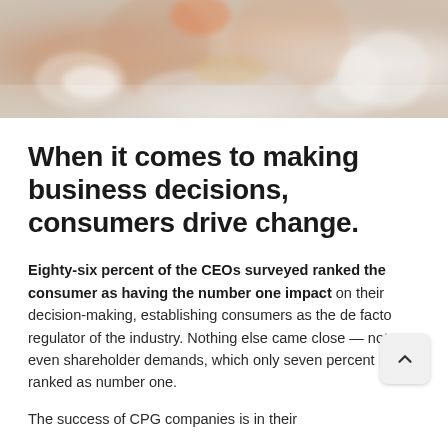[Figure (photo): Photo of people dining at a table with food, bowls, and plates visible in a warm, blurred background setting.]
When it comes to making business decisions, consumers drive change.
Eighty-six percent of the CEOs surveyed ranked the consumer as having the number one impact on their decision-making, establishing consumers as the de facto regulator of the industry. Nothing else came close — not even shareholder demands, which only seven percent ranked as number one.
The success of CPG companies is in their